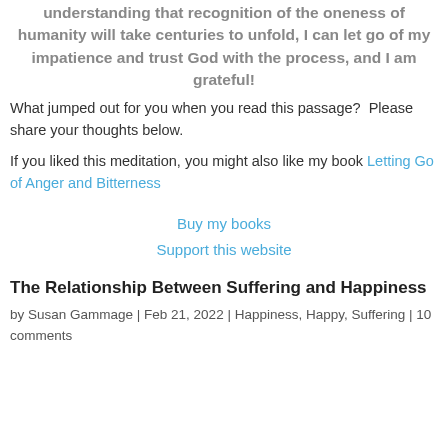understanding that recognition of the oneness of humanity will take centuries to unfold, I can let go of my impatience and trust God with the process, and I am grateful!
What jumped out for you when you read this passage?  Please share your thoughts below.
If you liked this meditation, you might also like my book Letting Go of Anger and Bitterness
Buy my books
Support this website
The Relationship Between Suffering and Happiness
by Susan Gammage | Feb 21, 2022 | Happiness, Happy, Suffering | 10 comments